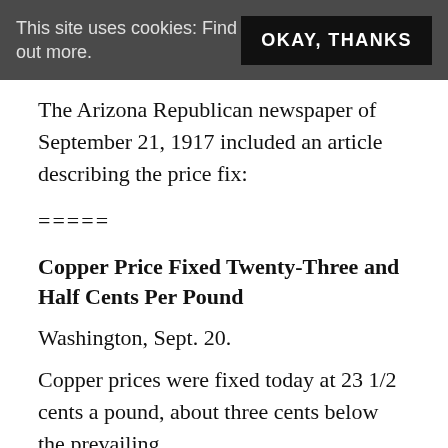This site uses cookies: Find out more.   OKAY, THANKS
The Arizona Republican newspaper of September 21, 1917 included an article describing the price fix:
=====
Copper Price Fixed Twenty-Three and Half Cents Per Pound
Washington, Sept. 20.
Copper prices were fixed today at 23 1/2 cents a pound, about three cents below the prevailing